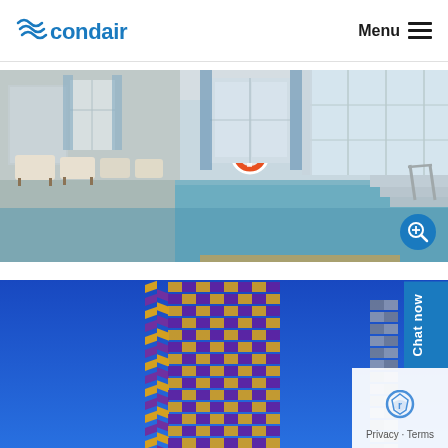condair | Menu
[Figure (photo): Indoor swimming pool interior with reflective water surface, lounge chairs, life preserver ring, large windows, and marble steps at the far end.]
[Figure (photo): Looking up at a modern high-rise building exterior with a distinctive diamond/chevron pattern of yellow and purple against a bright blue sky, with a Chat now button and Privacy/Terms overlay in the corner.]